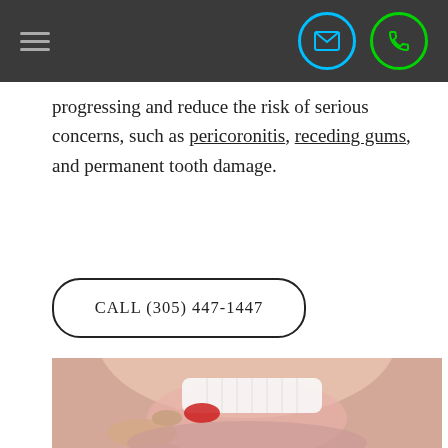[navigation header with hamburger menu, email icon, phone icon]
progressing and reduce the risk of serious concerns, such as pericoronitis, receding gums, and permanent tooth damage.
CALL (305) 447-1447
[Figure (photo): Close-up photo of a woman smiling, showing white teeth, with a finger pointing at the lower gum area showing redness or bleeding gums.]